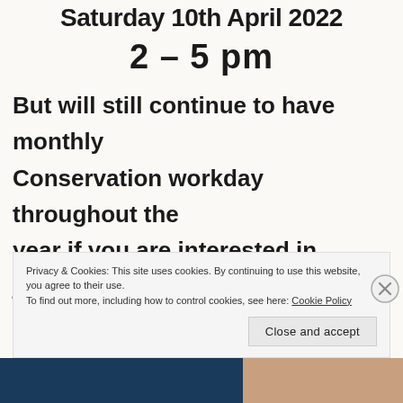Saturday 10th April 2022
2 – 5 pm
But will still continue to have monthly Conservation workday throughout the year if you are interested in joining us to maintain the reserve please go to the Volunteer conservation workday page to
Privacy & Cookies: This site uses cookies. By continuing to use this website, you agree to their use.
To find out more, including how to control cookies, see here: Cookie Policy
Close and accept